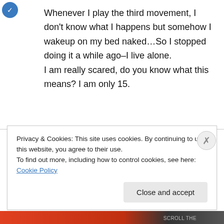Whenever I play the third movement, I don't know what I happens but somehow I wakeup on my bed naked…So I stopped doing it a while ago–I live alone.
I am really scared, do you know what this means? I am only 15.
dorigo on September 10, 2007 at 9:18 pm
Dear Ricky,
Privacy & Cookies: This site uses cookies. By continuing to use this website, you agree to their use.
To find out more, including how to control cookies, see here: Cookie Policy
Close and accept